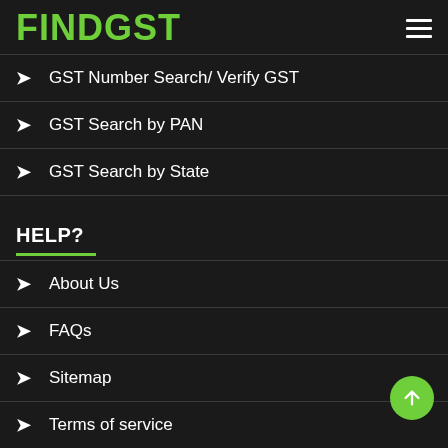FINDGST
GST Number Search/ Verify GST
GST Search by PAN
GST Search by State
HELP?
About Us
FAQs
Sitemap
Terms of service
Privacy policy